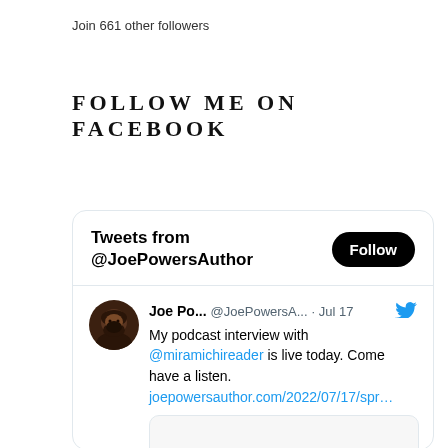Join 661 other followers
FOLLOW ME ON FACEBOOK
[Figure (screenshot): Twitter/X widget showing 'Tweets from @JoePowersAuthor' with a Follow button (black pill), and a tweet by Joe Po... @JoePowersA... · Jul 17 with a Twitter bird icon. Tweet text: 'My podcast interview with @miramichireader is live today. Come have a listen. joepowersauthor.com/2022/07/17/spr...' with a preview image box below.]